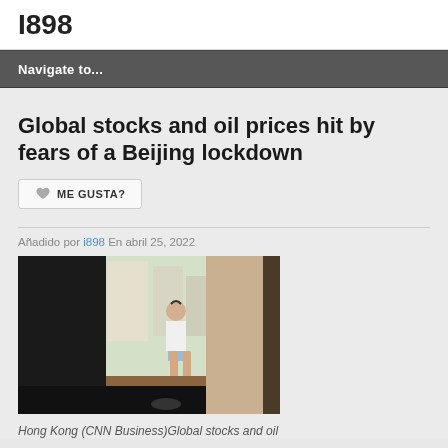I898
Navigate to...
Global stocks and oil prices hit by fears of a Beijing lockdown
ME GUSTA?
Añadido por i898 En abril 25, 2022
[Figure (photo): Person sitting on a windowsill wearing headphones, looking out at buildings, curtains visible]
Hong Kong (CNN Business)Global stocks and oil